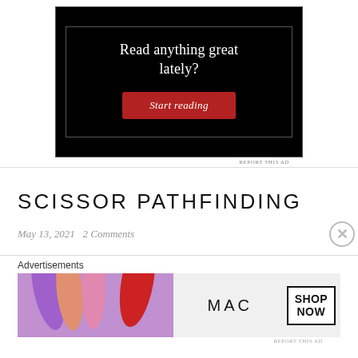[Figure (screenshot): Advertisement with black background. Heading text 'Read anything great lately?' in white serif font. Red button labeled 'Start reading' in italic serif font. Inner rectangle border visible.]
SCISSOR PATHFINDING
May 13, 2021   2 Comments
Advertisements
[Figure (screenshot): MAC cosmetics advertisement banner. Left side shows colorful lipsticks (purple, pink, coral, red). Center shows MAC logo text. Right shows 'SHOP NOW' in a bordered box.]